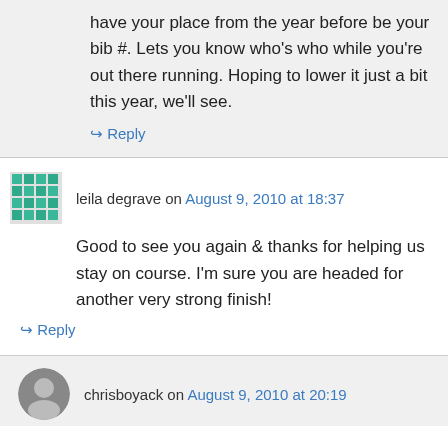have your place from the year before be your bib #. Lets you know who's who while you're out there running. Hoping to lower it just a bit this year, we'll see.
↳ Reply
leila degrave on August 9, 2010 at 18:37
Good to see you again & thanks for helping us stay on course. I'm sure you are headed for another very strong finish!
↳ Reply
chrisboyack on August 9, 2010 at 20:19